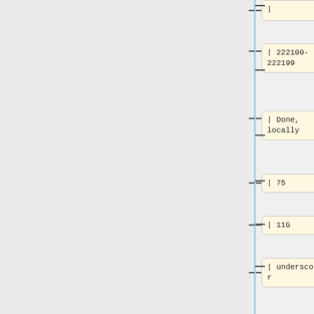[Figure (flowchart): Vertical flowchart/tree diagram showing a series of connected nodes. Each node is a rounded rectangle with cream/yellow background containing monospace text. Nodes are connected by a vertical blue line on the left with horizontal dashes branching to each node. Nodes from top to bottom: (partial top node), '| 222100-222199', '| Done, locally', '| 75', '| 11G', '| underscor', '|-', '| 222300-222399', '| Done, locally', '| 65', '| 16G' (partial bottom).]